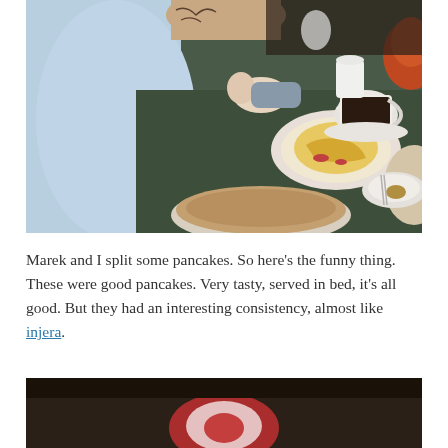[Figure (photo): Photo of a restaurant table with food including pancakes, an omelette, and coffee cups. A tattooed arm is visible reaching across the table, and a baby is lying on the table in the background.]
Marek and I split some pancakes. So here’s the funny thing. These were good pancakes. Very tasty, served in bed, it’s all good. But they had an interesting consistency, almost like injera.
[Figure (photo): Partial photo visible at bottom of page, showing a dark surface with what appears to be a red and white design or logo.]